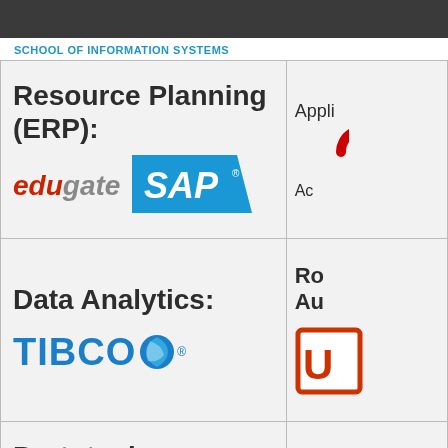SCHOOL OF INFORMATION SYSTEMS
| Category / Tool | Application |
| --- | --- |
| Resource Planning (ERP): edugate SAP | Appli... (Oracle logo) Ac... |
| Data Analytics: TIBCO | Ro... Au... (UI logo) |
| Prototyping : |  |